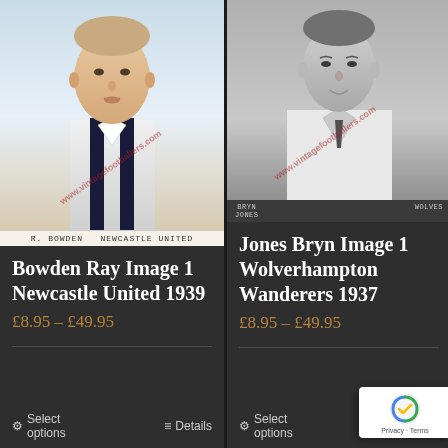[Figure (photo): Vintage football card portrait of R. Bowden, Newcastle United, in black and white striped jersey, color image, with watermark www.vintagefootballers.com]
R. BOWDEN  NEWCASTLE UNITED
Bowden Ray Image 1 Newcastle United 1939
£8.95 – £49.95
[Figure (photo): Vintage football card portrait of Bryn Jones, Wolverhampton Wanderers, in grey/white jersey, black and white photo, with watermark www.vintagefootballers.com]
BRYN JONES   WOLVES
Jones Bryn Image 1 Wolverhampton Wanderers 1937
£8.95 – £49.95
Select options
Details